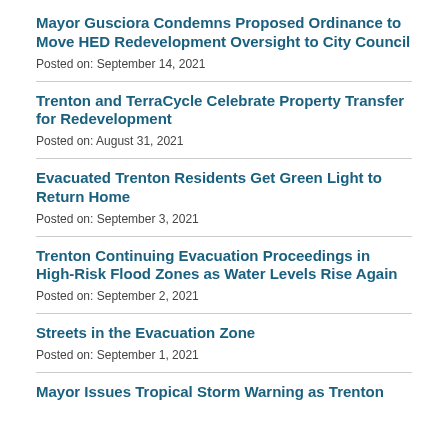Mayor Gusciora Condemns Proposed Ordinance to Move HED Redevelopment Oversight to City Council
Posted on: September 14, 2021
Trenton and TerraCycle Celebrate Property Transfer for Redevelopment
Posted on: August 31, 2021
Evacuated Trenton Residents Get Green Light to Return Home
Posted on: September 3, 2021
Trenton Continuing Evacuation Proceedings in High-Risk Flood Zones as Water Levels Rise Again
Posted on: September 2, 2021
Streets in the Evacuation Zone
Posted on: September 1, 2021
Mayor Issues Tropical Storm Warning as Trenton